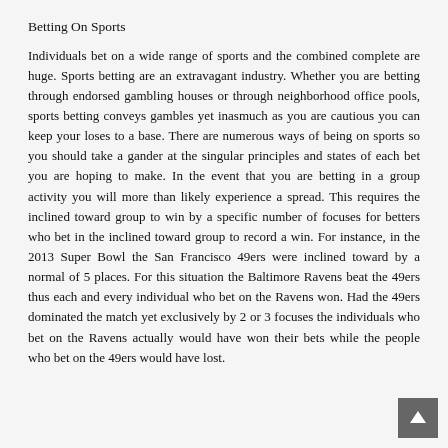Betting On Sports
Individuals bet on a wide range of sports and the combined complete are huge. Sports betting are an extravagant industry. Whether you are betting through endorsed gambling houses or through neighborhood office pools, sports betting conveys gambles yet inasmuch as you are cautious you can keep your loses to a base. There are numerous ways of being on sports so you should take a gander at the singular principles and states of each bet you are hoping to make. In the event that you are betting in a group activity you will more than likely experience a spread. This requires the inclined toward group to win by a specific number of focuses for betters who bet in the inclined toward group to record a win. For instance, in the 2013 Super Bowl the San Francisco 49ers were inclined toward by a normal of 5 places. For this situation the Baltimore Ravens beat the 49ers thus each and every individual who bet on the Ravens won. Had the 49ers dominated the match yet exclusively by 2 or 3 focuses the individuals who bet on the Ravens actually would have won their bets while the people who bet on the 49ers would have lost.